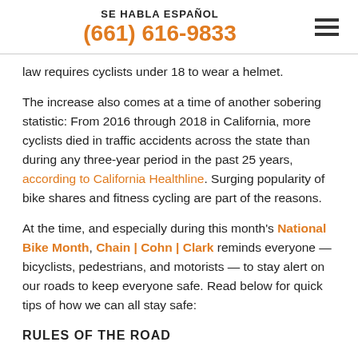SE HABLA ESPAÑOL (661) 616-9833
law requires cyclists under 18 to wear a helmet.
The increase also comes at a time of another sobering statistic: From 2016 through 2018 in California, more cyclists died in traffic accidents across the state than during any three-year period in the past 25 years, according to California Healthline. Surging popularity of bike shares and fitness cycling are part of the reasons.
At the time, and especially during this month's National Bike Month, Chain | Cohn | Clark reminds everyone — bicyclists, pedestrians, and motorists — to stay alert on our roads to keep everyone safe. Read below for quick tips of how we can all stay safe:
RULES OF THE ROAD